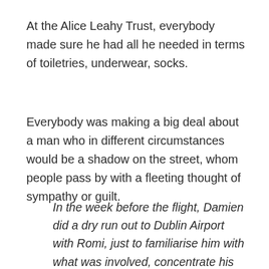At the Alice Leahy Trust, everybody made sure he had all he needed in terms of toiletries, underwear, socks.
Everybody was making a big deal about a man who in different circumstances would be a shadow on the street, whom people pass by with a fleeting thought of sympathy or guilt.
In the week before the flight, Damien did a dry run out to Dublin Airport with Romi, just to familiarise him with what was involved, concentrate his mind.